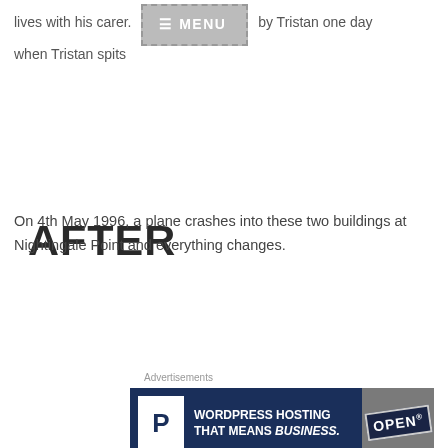lives with his carer. He gets bullied by Tristan one day when Tristan spits
[Figure (screenshot): Menu button overlay with dashed border and grey background, showing hamburger icon and MENU text]
AFTER
On 4th May 1996, a plane crashes into these two buildings at Nightingale Point and everything changes.
Advertisements
[Figure (screenshot): Advertisement banner for WordPress Hosting with dark navy background, P logo in white box, text WORDPRESS HOSTING THAT MEANS BUSINESS., and OPEN sign photo on right]
REPORT THIS AD
Every resident that lives on Nightingale Point has a before and after story. The ones that survived, but also the ones that didn't.